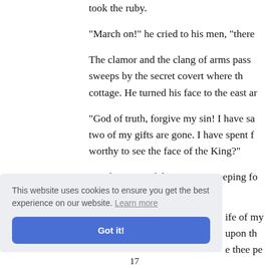took the ruby.

"March on!" he cried to his men, "there

The clamor and the clang of arms pass sweeps by the secret covert where th cottage. He turned his face to the east ar

"God of truth, forgive my sin! I have sa two of my gifts are gone. I have spent f worthy to see the face of the King?"

But the voice of the woman, weeping fo
ife of my upon th e thee pe
This website uses cookies to ensure you get the best experience on our website. Learn more
Got it!
17